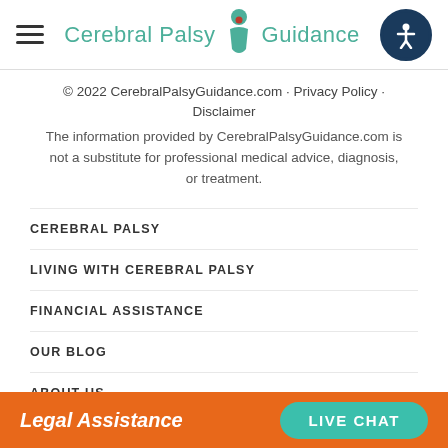Cerebral Palsy Guidance
© 2022 CerebralPalsyGuidance.com · Privacy Policy · Disclaimer
The information provided by CerebralPalsyGuidance.com is not a substitute for professional medical advice, diagnosis, or treatment.
CEREBRAL PALSY
LIVING WITH CEREBRAL PALSY
FINANCIAL ASSISTANCE
OUR BLOG
ABOUT US
CONTACT US
Legal Assistance  LIVE CHAT